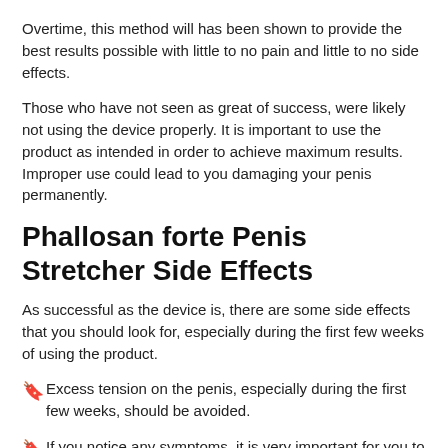Overtime, this method will has been shown to provide the best results possible with little to no pain and little to no side effects.
Those who have not seen as great of success, were likely not using the device properly. It is important to use the product as intended in order to achieve maximum results. Improper use could lead to you damaging your penis permanently.
Phallosan forte Penis Stretcher Side Effects
As successful as the device is, there are some side effects that you should look for, especially during the first few weeks of using the product.
Excess tension on the penis, especially during the first few weeks, should be avoided.
If you notice any symptoms, it is very important for you to discontinue use while your penis heals and returns to normal.